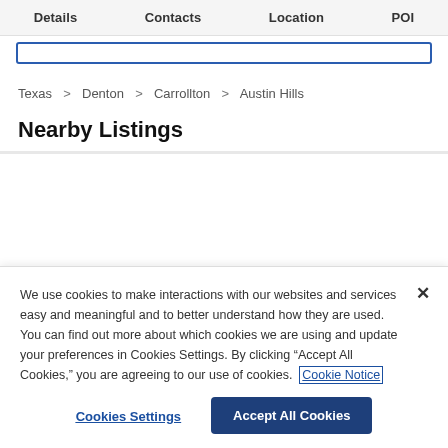Details   Contacts   Location   POI
Texas > Denton > Carrollton > Austin Hills
Nearby Listings
We use cookies to make interactions with our websites and services easy and meaningful and to better understand how they are used. You can find out more about which cookies we are using and update your preferences in Cookies Settings. By clicking "Accept All Cookies," you are agreeing to our use of cookies. Cookie Notice
Cookies Settings
Accept All Cookies